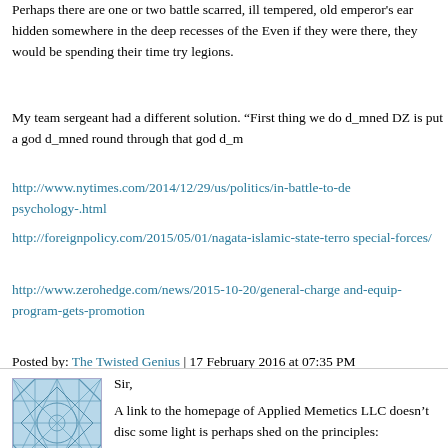Perhaps there are one or two battle scarred, ill tempered, old emperor's ear hidden somewhere in the deep recesses of the Even if they were there, they would be spending their time try legions.
My team sergeant had a different solution. "First thing we do d_mned DZ is put a god d_mned round through that god d_m
http://www.nytimes.com/2014/12/29/us/politics/in-battle-to-de psychology-.html
http://foreignpolicy.com/2015/05/01/nagata-islamic-state-terro special-forces/
http://www.zerohedge.com/news/2015-10-20/general-charge and-equip-program-gets-promotion
Posted by: The Twisted Genius | 17 February 2016 at 07:35 PM
[Figure (illustration): Blue/teal geometric mesh pattern avatar image]
Sir,

A link to the homepage of Applied Memetics LLC doesn't disc some light is perhaps shed on the principles:

http://www.appliedmemeticsllc.com/